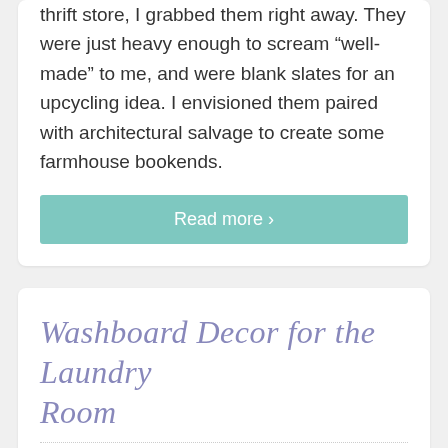When I spotted this pair of wood bookends at the thrift store, I grabbed them right away. They were just heavy enough to scream “well-made” to me, and were blank slates for an upcycling idea. I envisioned them paired with architectural salvage to create some farmhouse bookends.
Read more ›
Washboard Decor for the Laundry Room
November 14, 2018 · By Sadie Seasongoods · 23 Comments
[Figure (photo): Photo of a National Washboard Co. wooden washboard and a Sadie Seasongoods logo/signature on the right side]